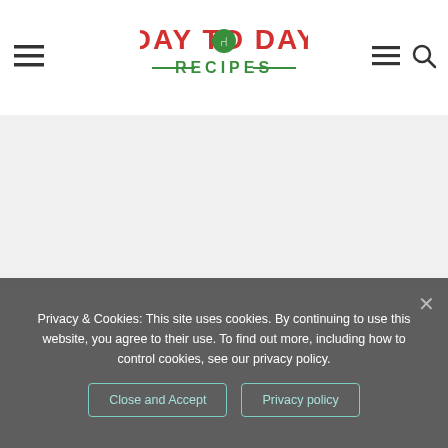Day To Day Recipes
[Figure (logo): Day To Day Recipes logo with fork/spoon icon and green/red typography]
Privacy & Cookies: This site uses cookies. By continuing to use this website, you agree to their use. To find out more, including how to control cookies, see our privacy policy.
Close and Accept | Privacy policy